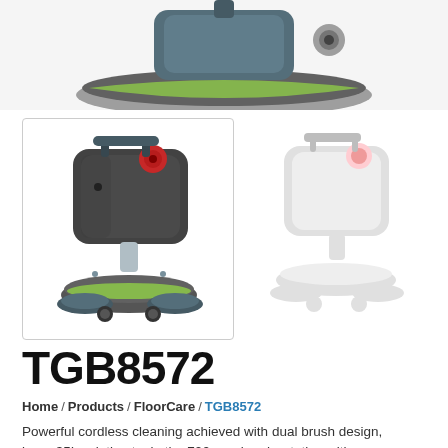[Figure (photo): Top portion of a floor scrubber machine showing the disc brush with green trim, partially cropped at top of page]
[Figure (photo): Main product image of TGB8572 floor scrubber in dark charcoal color with dual brushes and red accents, shown in a bordered box on the left. A faded/ghost secondary view of the same machine in light gray on the right.]
TGB8572
Home / Products / FloorCare / TGB8572
Powerful cordless cleaning achieved with dual brush design, large 35L solution tank, the 700 rpm brush rotation with...